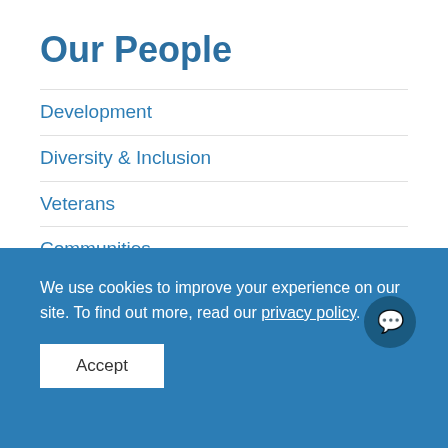Our People
Development
Diversity & Inclusion
Veterans
Communities
We use cookies to improve your experience on our site. To find out more, read our privacy policy.
Accept